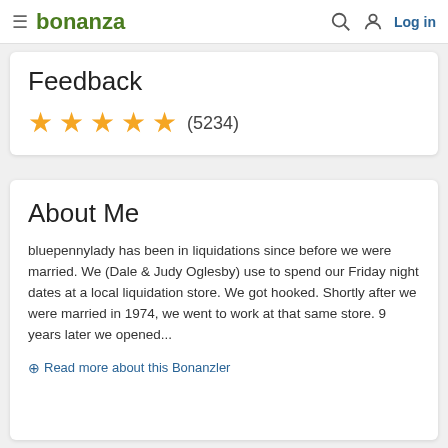bonanza  Log in
Feedback
★★★★★ (5234)
About Me
bluepennylady has been in liquidations since before we were married. We (Dale & Judy Oglesby) use to spend our Friday night dates at a local liquidation store. We got hooked. Shortly after we were married in 1974, we went to work at that same store. 9 years later we opened...
+ Read more about this Bonanzler